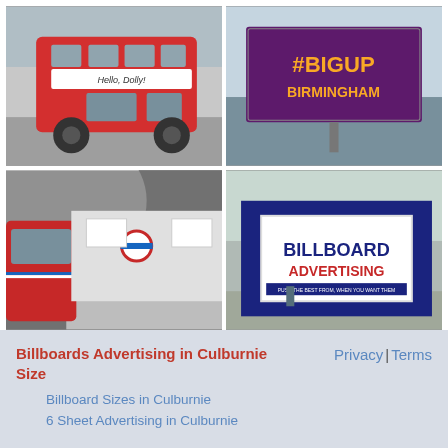[Figure (photo): Red double-decker London bus with 'Hello, Dolly!' advertisement on the side]
[Figure (photo): Outdoor billboard with dark purple background showing '#BIGUP BIRMINGHAM' text]
[Figure (photo): London Underground tunnel station platform with tube train and advertising panels]
[Figure (photo): Large dark blue billboard advertising structure with 'BILLBOARD ADVERTISING' sign]
Billboards Advertising in Culburnie Size
Privacy | Terms
Billboard Sizes in Culburnie
6 Sheet Advertising in Culburnie